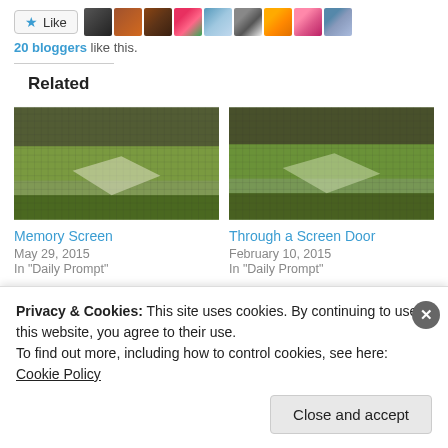[Figure (screenshot): Like button with star icon and a strip of 9 blogger avatar thumbnails]
20 bloggers like this.
Related
[Figure (photo): Pixelated/mosaic photo thumbnail for Memory Screen post]
Memory Screen
May 29, 2015
In "Daily Prompt"
[Figure (photo): Pixelated/mosaic photo thumbnail for Through a Screen Door post]
Through a Screen Door
February 10, 2015
In "Daily Prompt"
Privacy & Cookies: This site uses cookies. By continuing to use this website, you agree to their use.
To find out more, including how to control cookies, see here: Cookie Policy